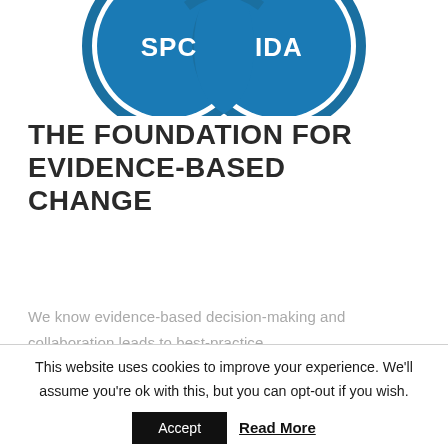[Figure (logo): SPC IDA logo — two interlocking blue circles with white text 'SPC' and 'IDA', partially cropped at the top of the page]
THE FOUNDATION FOR EVIDENCE-BASED CHANGE
We know evidence-based decision-making and collaboration leads to best-practice management.
This website uses cookies to improve your experience. We'll assume you're ok with this, but you can opt-out if you wish.
Accept
Read More